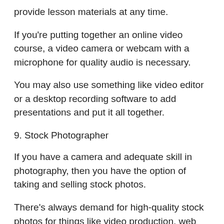provide lesson materials at any time.
If you're putting together an online video course, a video camera or webcam with a microphone for quality audio is necessary.
You may also use something like video editor or a desktop recording software to add presentations and put it all together.
9. Stock Photographer
If you have a camera and adequate skill in photography, then you have the option of taking and selling stock photos.
There's always demand for high-quality stock photos for things like video production, web content, advertising, and